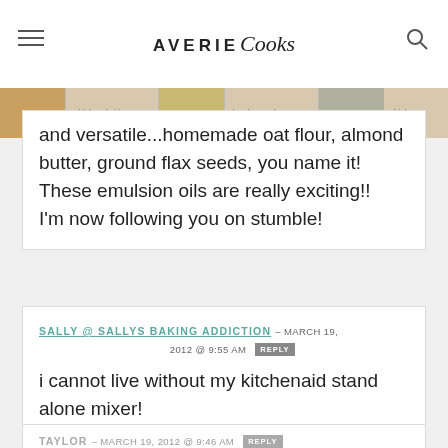AVERIE Cooks
and versatile...homemade oat flour, almond butter, ground flax seeds, you name it! These emulsion oils are really exciting!! I'm now following you on stumble!
SALLY @ SALLYS BAKING ADDICTION – MARCH 19, 2012 @ 9:55 AM REPLY
i cannot live without my kitchenaid stand alone mixer!
TAYLOR – MARCH 19, 2012 @ 9:46 AM REPLY